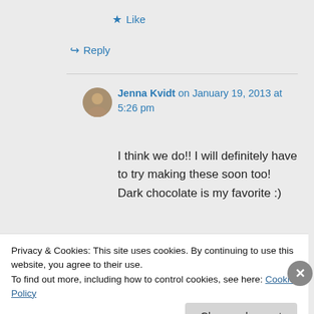★ Like
↳ Reply
Jenna Kvidt on January 19, 2013 at 5:26 pm
I think we do!! I will definitely have to try making these soon too! Dark chocolate is my favorite :)
Privacy & Cookies: This site uses cookies. By continuing to use this website, you agree to their use. To find out more, including how to control cookies, see here: Cookie Policy
Close and accept